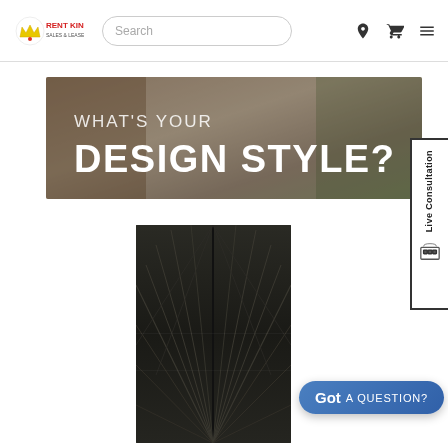Rent King - Sales & Lease-Purchase | Search | Navigation
[Figure (screenshot): Rent King website header with logo, search bar, location icon, cart icon, and hamburger menu]
[Figure (photo): Banner image with room interior background and text WHAT'S YOUR DESIGN STYLE?]
[Figure (photo): Dark wood panel / cabinet product image with palm leaf herringbone pattern]
[Figure (infographic): Live Consultation sidebar tab on the right edge]
Got A QUESTION?